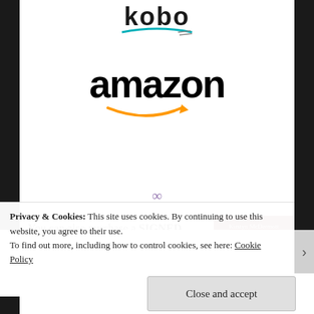[Figure (logo): Kobo logo - stylized text 'kobo' with teal book/lines icon below]
[Figure (logo): Amazon logo - black bold 'amazon' text with orange smile/arrow beneath]
∞
You can also purchase a SIGNED copy of Madigan Mine (Australian trade paperback edition) directly from me simply by clicking on one of the
[Figure (photo): Book cover of Madigan Mine by Kirstyn McDermott - dark red toned cover with woman's face and 'MADIGAN' text at bottom]
Privacy & Cookies: This site uses cookies. By continuing to use this website, you agree to their use.
To find out more, including how to control cookies, see here: Cookie Policy
Close and accept